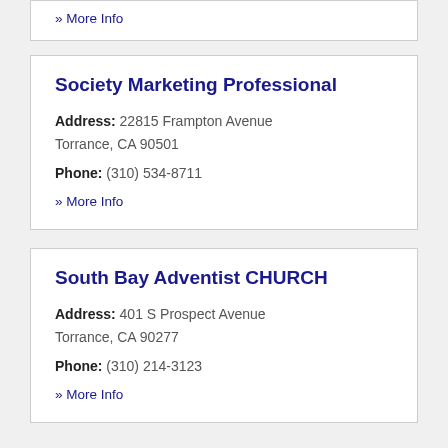» More Info
Society Marketing Professional
Address: 22815 Frampton Avenue Torrance, CA 90501
Phone: (310) 534-8711
» More Info
South Bay Adventist CHURCH
Address: 401 S Prospect Avenue Torrance, CA 90277
Phone: (310) 214-3123
» More Info